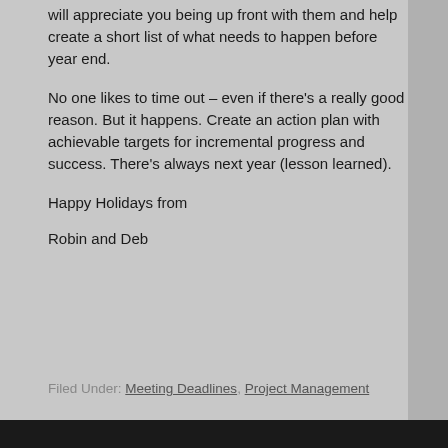will appreciate you being up front with them and help create a short list of what needs to happen before year end.
No one likes to time out – even if there's a really good reason. But it happens. Create an action plan with achievable targets for incremental progress and success. There's always next year (lesson learned).
Happy Holidays from
Robin and Deb
Filed Under: Meeting Deadlines, Project Management